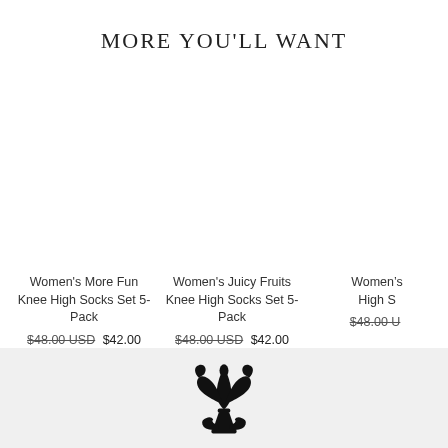MORE YOU'LL WANT
Women's More Fun Knee High Socks Set 5-Pack
$48.00 USD  $42.00 USD
Save 13%
Women's Juicy Fruits Knee High Socks Set 5-Pack
$48.00 USD  $42.00 USD
Save 13%
Women's ... High S...
$48.00 U...
[Figure (logo): Fleur-de-lis decorative logo symbol in black at the bottom footer area]